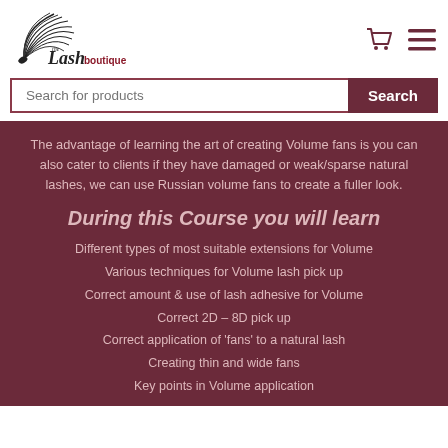[Figure (logo): The Lash Boutique logo with feather/lash graphic and stylized text]
The advantage of learning the art of creating Volume fans is you can also cater to clients if they have damaged or weak/sparse natural lashes, we can use Russian volume fans to create a fuller look.
During this Course you will learn
Different types of most suitable extensions for Volume
Various techniques for Volume lash pick up
Correct amount & use of lash adhesive for Volume
Correct 2D – 8D pick up
Correct application of 'fans' to a natural lash
Creating thin and wide fans
Key points in Volume application